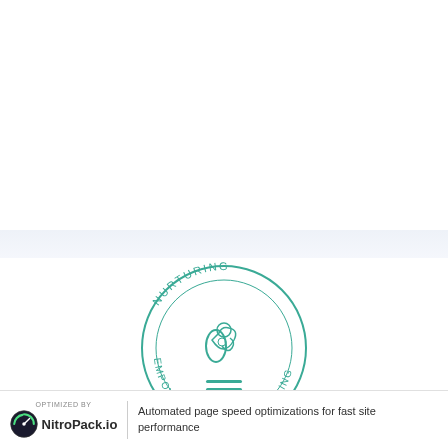[Figure (logo): Circular teal logo with text 'NURTURING EMPOWERING HEALING' arranged in a circle, with a stylized figure/scissors icon in the center]
[Figure (other): Hamburger menu icon consisting of three horizontal teal lines]
[Figure (logo): NitroPack.io logo with speedometer icon and 'OPTIMIZED BY NitroPack.io' text]
Automated page speed optimizations for fast site performance